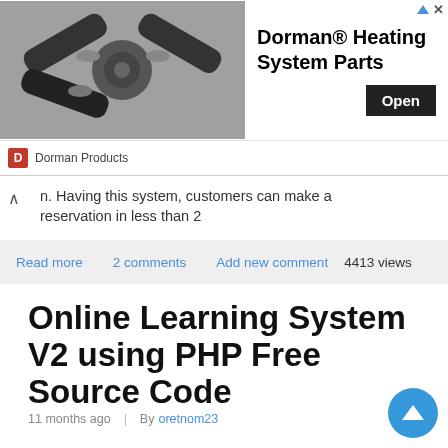[Figure (advertisement): Dorman Heating System Parts ad banner with image of black hose fittings, Open button, and Dorman Products logo]
n. Having this system, customers can make a reservation in less than 2
Read more  2 comments  Add new comment  4413 views
Online Learning System V2 using PHP Free Source Code
11 months ago  |  By oretnom23
[Figure (screenshot): Screenshot of Online Learning System V2 PHP project interface with purple sidebar]
Introduction This is an Online Learning System Project in PHP.